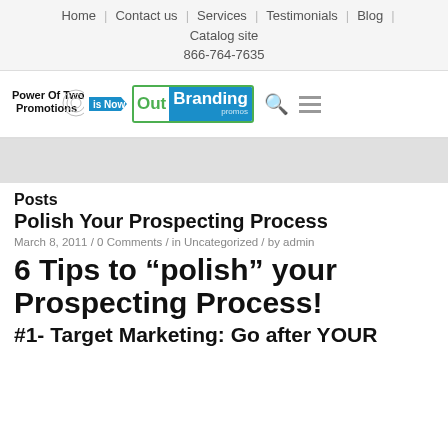Home | Contact us | Services | Testimonials | Blog | Catalog site | 866-764-7635
[Figure (logo): Power Of Two Promotions is Now OutBranding promos logo with search and hamburger menu icons]
Posts
Polish Your Prospecting Process
March 8, 2011 / 0 Comments / in Uncategorized / by admin
6 Tips to “polish” your Prospecting Process!
#1- Target Marketing: Go after YOUR